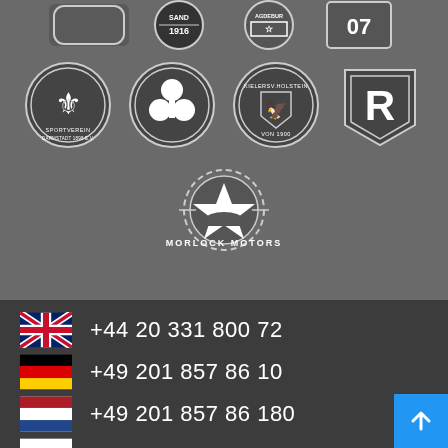[Figure (logo): Top section with sports club logos (football clubs) shown in black and white on grey background, including Darmstadt, Fürth (Kleeblatt), Kiel Holstein, Jahn Regensburg, and partially visible top row logos (1916, Magdeburg, 07). Center bottom has Morlock Motors logo.]
+44 20 331 800 72
+49 201 857 86 10
+49 201 857 86 180
+48 223 076 958
+49 201 857 86 152
+34 011 433 456